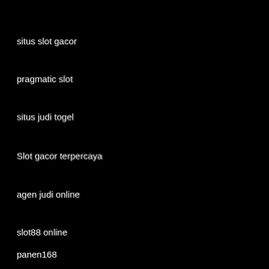situs slot gacor
pragmatic slot
situs judi togel
Slot gacor terpercaya
agen judi online
slot88 online
panen168